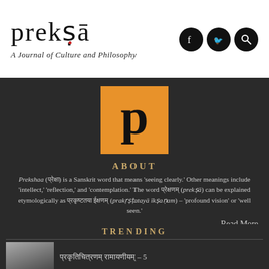prekṣa
A Journal of Culture and Philosophy
[Figure (logo): Orange square with bold lowercase letter p in black]
ABOUT
Prekshaa (प्रेक्षा) is a Sanskrit word that means 'seeing clearly.' Other meanings include 'intellect,' 'reflection,' and 'contemplation.' The word प्रेक्षणम् (prekṣā) can be explained etymologically as प्रकृष्टतया ईक्षणम् (prakṛṣṭatayā īkṣaṇam) – 'profound vision' or 'well seen.'
Read More
TRENDING
प्रकृतिचित्रणम् रामायणीयम् – 5